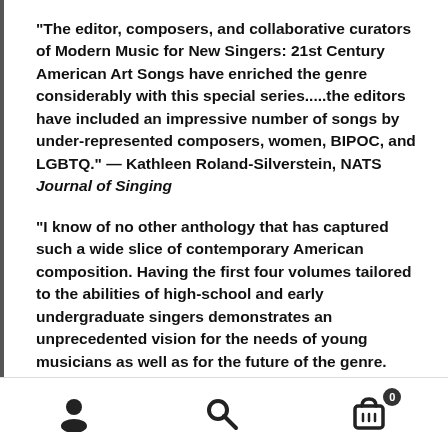"The editor, composers, and collaborative curators of Modern Music for New Singers: 21st Century American Art Songs have enriched the genre considerably with this special series.....the editors have included an impressive number of songs by under-represented composers, women, BIPOC, and LGBTQ." — Kathleen Roland-Silverstein, NATS Journal of Singing
"I know of no other anthology that has captured such a wide slice of contemporary American composition. Having the first four volumes tailored to the abilities of high-school and early undergraduate singers demonstrates an unprecedented vision for the needs of young musicians as well as for the future of the genre. These volumes will prove a tremendous resource for teachers, students, and music historians, and they should have a prominent place in music libraries, both institutional and personal.